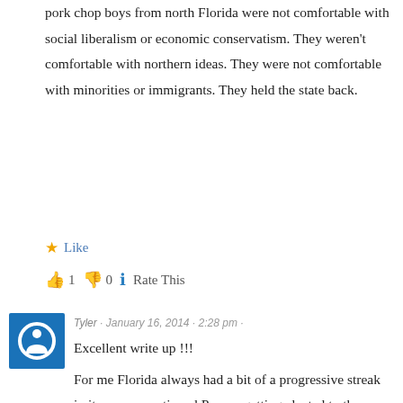pork chop boys from north Florida were not comfortable with social liberalism or economic conservatism. They weren't comfortable with northern ideas. They were not comfortable with minorities or immigrants. They held the state back.
★ Like
👍 1  👎 0  ℹ Rate This
Tyler · January 16, 2014 · 2:28 pm ·
Excellent write up !!!
For me Florida always had a bit of a progressive streak in it as you mentioned Pepper getting elected to the Senate.
But because of the malapportionment Legislature the rural areas controlled state policy. This did not mean